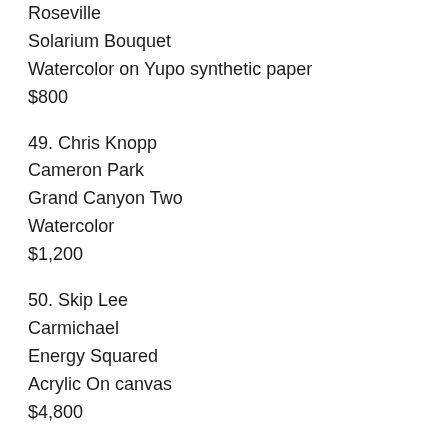Roseville
Solarium Bouquet
Watercolor on Yupo synthetic paper
$800
49. Chris Knopp
Cameron Park
Grand Canyon Two
Watercolor
$1,200
50. Skip Lee
Carmichael
Energy Squared
Acrylic On canvas
$4,800
51. Skip Lee